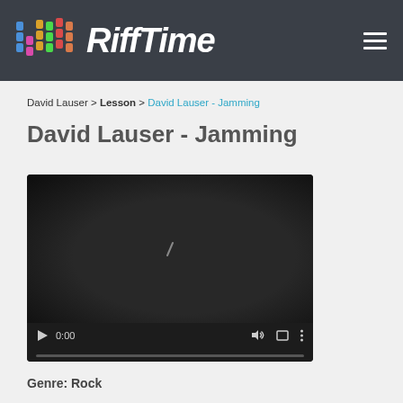[Figure (logo): RiffTime logo with colorful equalizer bars and white italic text 'RiffTime' on dark header]
David Lauser > Lesson > David Lauser - Jamming
David Lauser - Jamming
[Figure (screenshot): Embedded video player showing a dark video frame with playback controls: play button, time 0:00, volume, fullscreen, and more options icons, with a progress bar at the bottom]
Genre: Rock